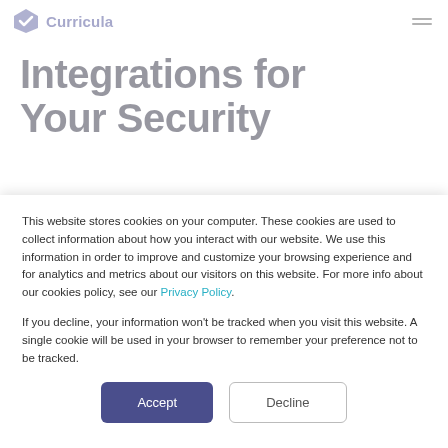Curricula
Integrations for Your Security
This website stores cookies on your computer. These cookies are used to collect information about how you interact with our website. We use this information in order to improve and customize your browsing experience and for analytics and metrics about our visitors on this website. For more info about our cookies policy, see our Privacy Policy.
If you decline, your information won't be tracked when you visit this website. A single cookie will be used in your browser to remember your preference not to be tracked.